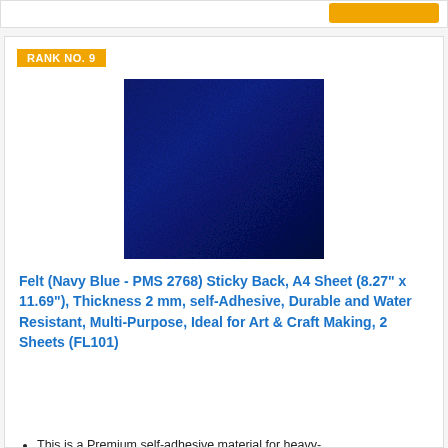[Figure (other): Top bar with orange/gold button on right side]
RANK NO. 9
[Figure (photo): Navy blue felt sheet product photo on white background]
Felt (Navy Blue - PMS 2768) Sticky Back, A4 Sheet (8.27" x 11.69"), Thickness 2 mm, self-Adhesive, Durable and Water Resistant, Multi-Purpose, Ideal for Art & Craft Making, 2 Sheets (FL101)
This is a Premium self-adhesive material for heavy-